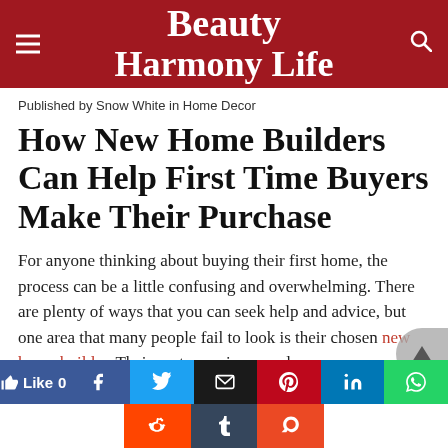Beauty Harmony Life
Published by Snow White in Home Decor
How New Home Builders Can Help First Time Buyers Make Their Purchase
For anyone thinking about buying their first home, the process can be a little confusing and overwhelming. There are plenty of ways that you can seek help and advice, but one area that many people fail to look is their chosen new home builder. Their vast experience and